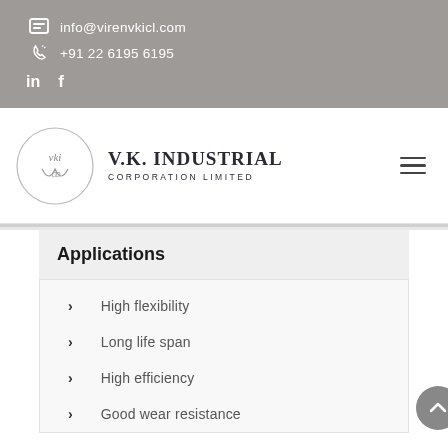info@virenvkicl.com  +91 22 6195 6195
[Figure (logo): V.K. Industrial Corporation Limited logo — circular vki monogram with company name]
Applications
High flexibility
Long life span
High efficiency
Good wear resistance